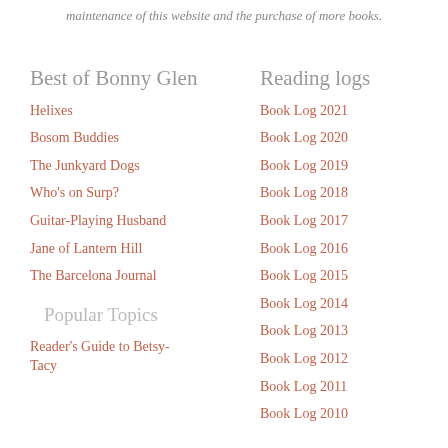maintenance of this website and the purchase of more books.
Best of Bonny Glen
Helixes
Bosom Buddies
The Junkyard Dogs
Who's on Surp?
Guitar-Playing Husband
Jane of Lantern Hill
The Barcelona Journal
Popular Topics
Reader's Guide to Betsy-Tacy
Reading logs
Book Log 2021
Book Log 2020
Book Log 2019
Book Log 2018
Book Log 2017
Book Log 2016
Book Log 2015
Book Log 2014
Book Log 2013
Book Log 2012
Book Log 2011
Book Log 2010